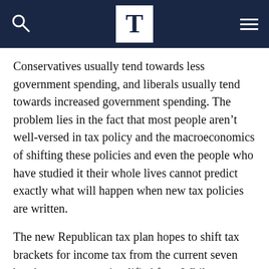T
Conservatives usually tend towards less government spending, and liberals usually tend towards increased government spending. The problem lies in the fact that most people aren't well-versed in tax policy and the macroeconomics of shifting these policies and even the people who have studied it their whole lives cannot predict exactly what will happen when new tax policies are written.
The new Republican tax plan hopes to shift tax brackets for income tax from the current seven brackets to a more simplified four. While a simpler tax policy sounds nice, the only people who really benefit from the changing brackets are people who make more than $156,150 gross income per year. Nearly everyone